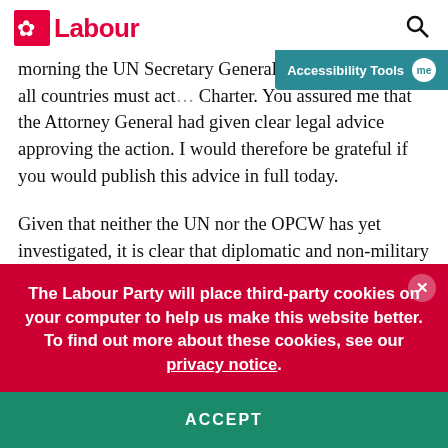Labour | Accessibility Tools
morning the UN Secretary General as: reiterating that all countries must act... Charter. You assured me that the Attorney General had given clear legal advice approving the action. I would therefore be grateful if you would publish this advice in full today.
Given that neither the UN nor the OPCW has yet investigated, it is clear that diplomatic and non-military means have not been fully exhausted.
It is now vitally important that the OPCW inspectors who
The Labour Party will place third-party cookies on your computer to help us make this website better. To find out more about these cookies, see our privacy notice.
ACCEPT